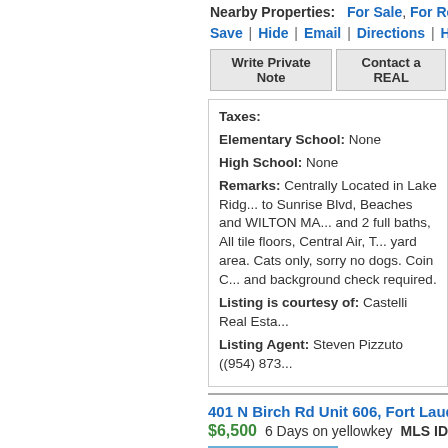Nearby Properties: For Sale, For Rent
Save | Hide | Email | Directions | Histo...
Write Private Note | Contact a REAL...
Taxes:
Elementary School: None
High School: None
Remarks: Centrally Located in Lake Ridg... to Sunrise Blvd, Beaches and WILTON MA... and 2 full baths, All tile floors, Central Air, T... yard area. Cats only, sorry no dogs. Coin C... and background check required.
Listing is courtesy of: Castelli Real Esta...
Listing Agent: Steven Pizzuto ((954) 873...
401 N Birch Rd Unit 606, Fort Lauderdale
$6,500  6 Days on yellowkey  MLS ID: F103...
[Figure (photo): Property photo with For RENT badge overlay, showing blue sky]
Bed: 1  Bath:
Liv Area Sq Ft...
Community: T...
Pool: Yes
Condo, Pets Al...